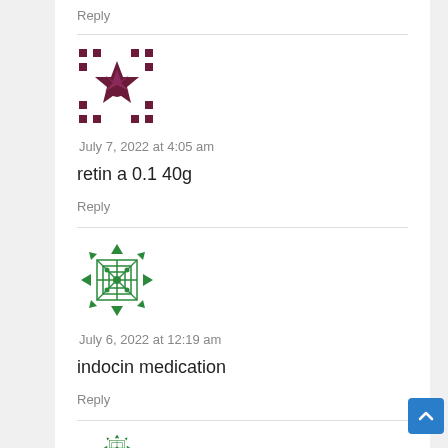Reply
[Figure (illustration): Purple decorative avatar icon with geometric flower/star pattern]
July 7, 2022 at 4:05 am
retin a 0.1 40g
Reply
[Figure (illustration): Green decorative avatar icon with geometric diamond/arrow pattern]
July 6, 2022 at 12:19 am
indocin medication
Reply
[Figure (illustration): Partial green avatar icon at bottom of page]